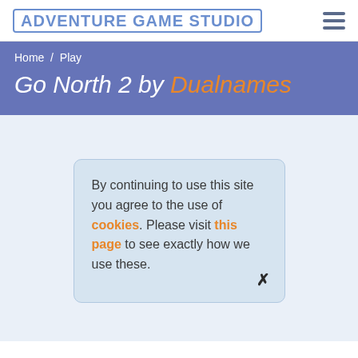Adventure Game Studio
Home / Play
Go North 2 by Dualnames
By continuing to use this site you agree to the use of cookies. Please visit this page to see exactly how we use these.